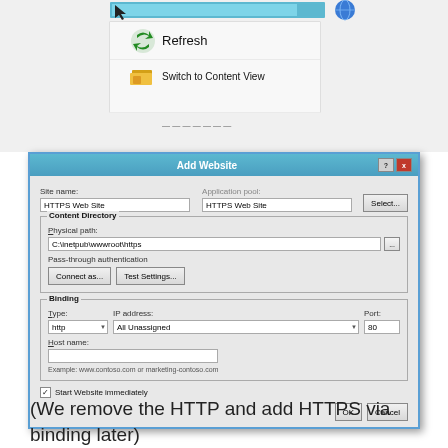[Figure (screenshot): Windows context menu showing Refresh and Switch to Content View options, with a partial IIS manager window visible behind]
[Figure (screenshot): IIS Add Website dialog with fields: Site name (HTTPS Web Site), Application pool (HTTPS Web Site), Physical path (C:\inetpub\wwwroot\https), Binding section with Type (http), IP address (All Unassigned), Port (80), Host name (empty), Start Website immediately checkbox checked, OK and Cancel buttons]
(We remove the HTTP and add HTTPS via binding later)